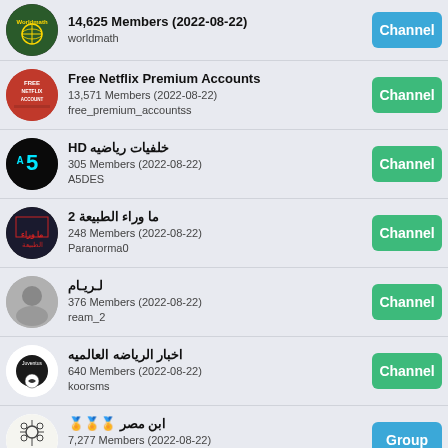worldmath — 14,625 Members (2022-08-22) — Channel
Free Netflix Premium Accounts — 13,571 Members (2022-08-22) — free_premium_accountss — Channel
HD خلفيات رياضيه — 305 Members (2022-08-22) — A5DES — Channel
ما وراء الطبيعة 2 — 248 Members (2022-08-22) — Paranorma0 — Channel
لـريـام — 376 Members (2022-08-22) — ream_2 — Channel
اخبار الرياضه العالميه — 640 Members (2022-08-22) — koorsms — Channel
🏅🏅🏅 ابن مصر — 7,277 Members (2022-08-22) — uy1egcom — Group
مسلسل قطاع الطرق